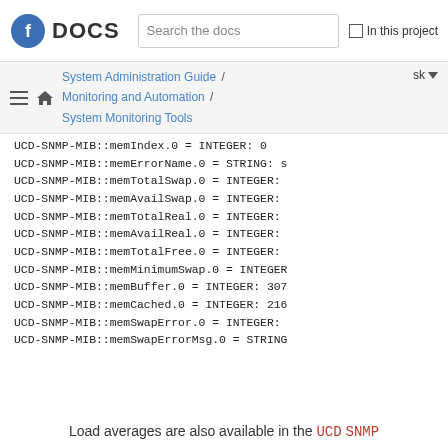DOCS | Search the docs | In this project
System Administration Guide / Monitoring and Automation / System Monitoring Tools  sk
UCD-SNMP-MIB::memIndex.0 = INTEGER: 0
UCD-SNMP-MIB::memErrorName.0 = STRING: s
UCD-SNMP-MIB::memTotalSwap.0 = INTEGER:
UCD-SNMP-MIB::memAvailSwap.0 = INTEGER:
UCD-SNMP-MIB::memTotalReal.0 = INTEGER:
UCD-SNMP-MIB::memAvailReal.0 = INTEGER:
UCD-SNMP-MIB::memTotalFree.0 = INTEGER:
UCD-SNMP-MIB::memMinimumSwap.0 = INTEGER
UCD-SNMP-MIB::memBuffer.0 = INTEGER: 307
UCD-SNMP-MIB::memCached.0 = INTEGER: 216
UCD-SNMP-MIB::memSwapError.0 = INTEGER:
UCD-SNMP-MIB::memSwapErrorMsg.0 = STRING
Load averages are also available in the UCD SNMP